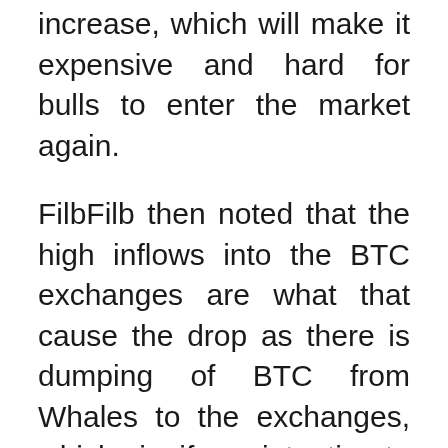increase, which will make it expensive and hard for bulls to enter the market again.
FilbFilb then noted that the high inflows into the BTC exchanges are what that cause the drop as there is dumping of BTC from Whales to the exchanges, which signify an intention to sell.
How Stablecoins will help BTC